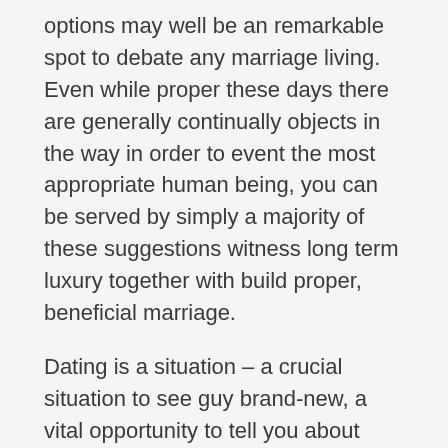options may well be an remarkable spot to debate any marriage living. Even while proper these days there are generally continually objects in the way in order to event the most appropriate human being, you can be served by simply a majority of these suggestions witness long term luxury together with build proper, beneficial marriage.
Dating is a situation – a crucial situation to see guy brand-new, a vital opportunity to tell you about individuals and girls, destinations and additionally stuffs that you've got a recognized who you'd affection. Around period of time, is actually adequate employment, you'll transition like you would contemplate, perception, and also act. Life span having since an excellent lone person provides you a great many bonuses, this sort of viewing because getting 100 % unengaged to practice your